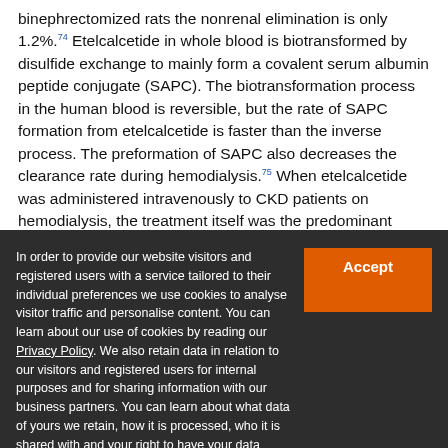binephrectomized rats the nonrenal elimination is only 1.2%.74 Etelcalcetide in whole blood is biotransformed by disulfide exchange to mainly form a covalent serum albumin peptide conjugate (SAPC). The biotransformation process in the human blood is reversible, but the rate of SAPC formation from etelcalcetide is faster than the inverse process. The preformation of SAPC also decreases the clearance rate during hemodialysis.75 When etelcalcetide was administered intravenously to CKD patients on hemodialysis, the treatment itself was the predominant clearance and elimination route, with a 60% of the administered dose recovered in the 72,75
In order to provide our website visitors and registered users with a service tailored to their individual preferences we use cookies to analyse visitor traffic and personalise content. You can learn about our use of cookies by reading our Privacy Policy. We also retain data in relation to our visitors and registered users for internal purposes and for sharing information with our business partners. You can learn about what data of yours we retain, how it is processed, who it is shared with and your right to have your data deleted by reading our Privacy Policy. If you agree to our use of cookies and the contents of our Privacy Policy please click 'accept'.